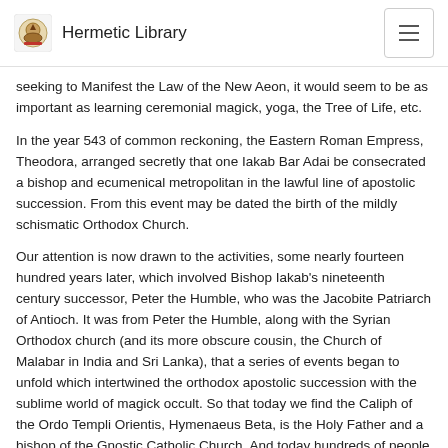Hermetic Library
seeking to Manifest the Law of the New Aeon, it would seem to be as important as learning ceremonial magick, yoga, the Tree of Life, etc.
In the year 543 of common reckoning, the Eastern Roman Empress, Theodora, arranged secretly that one Iakab Bar Adai be consecrated a bishop and ecumenical metropolitan in the lawful line of apostolic succession. From this event may be dated the birth of the mildly schismatic Orthodox Church.
Our attention is now drawn to the activities, some nearly fourteen hundred years later, which involved Bishop Iakab's nineteenth century successor, Peter the Humble, who was the Jacobite Patriarch of Antioch. It was from Peter the Humble, along with the Syrian Orthodox church (and its more obscure cousin, the Church of Malabar in India and Sri Lanka), that a series of events began to unfold which intertwined the orthodox apostolic succession with the sublime world of magick occult. So that today we find the Caliph of the Ordo Templi Orientis, Hymenaeus Beta, is the Holy Father and a bishop of the Gnostic Catholic Church. And today hundreds of people attend regular performances of the Eucharistic Gnostic Mass presided over by Bishops, Priests, Priestesses and Deacons - the majority of which are